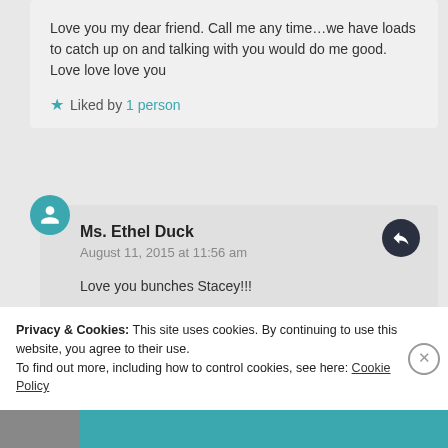Love you my dear friend. Call me any time...we have loads to catch up on and talking with you would do me good. Love love love you
Liked by 1 person
Ms. Ethel Duck
August 11, 2015 at 11:56 am
Love you bunches Stacey!!!
Like
Privacy & Cookies: This site uses cookies. By continuing to use this website, you agree to their use.
To find out more, including how to control cookies, see here: Cookie Policy
Close and accept